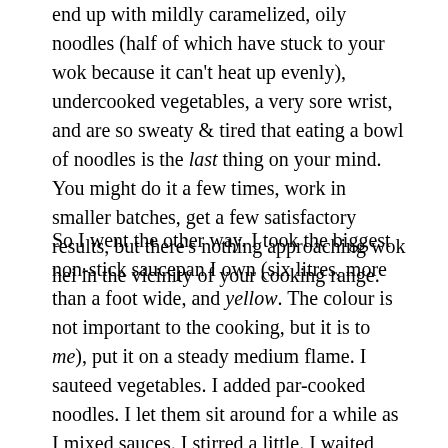end up with mildly caramelized, oily noodles (half of which have stuck to your wok because it can't heat up evenly), undercooked vegetables, a very sore wrist, and are so sweaty & tired that eating a bowl of noodles is the last thing on your mind. You might do it a few times, work in smaller batches, get a few satisfactory results, but there's nothing approaching wok hei in the vicinity of your cooking range.
So I went the other way. I took the biggest non-stick saucepan I own (six litres, more than a foot wide, and yellow. The colour is not important to the cooking, but it is to me), put it on a steady medium flame. I sauteed vegetables. I added par-cooked noodles. I let them sit around for a while as I mixed sauces. I stirred a little. I waited some more. I added the sauce and stirred some more. I